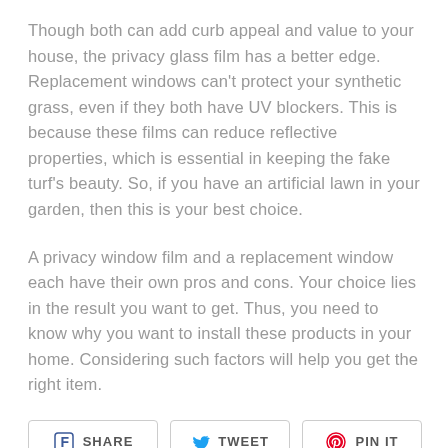Though both can add curb appeal and value to your house, the privacy glass film has a better edge. Replacement windows can't protect your synthetic grass, even if they both have UV blockers. This is because these films can reduce reflective properties, which is essential in keeping the fake turf's beauty. So, if you have an artificial lawn in your garden, then this is your best choice.
A privacy window film and a replacement window each have their own pros and cons. Your choice lies in the result you want to get. Thus, you need to know why you want to install these products in your home. Considering such factors will help you get the right item.
[Figure (other): Social sharing buttons: SHARE (Facebook), TWEET (Twitter), PIN IT (Pinterest)]